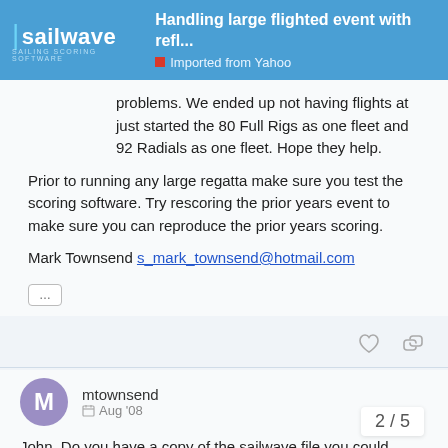Handling large flighted event with refl... | Imported from Yahoo
problems. We ended up not having flights at just started the 80 Full Rigs as one fleet and 92 Radials as one fleet. Hope they help.
Prior to running any large regatta make sure you test the scoring software. Try rescoring the prior years event to make sure you can reproduce the prior years scoring.
Mark Townsend s_mark_townsend@hotmail.com
mtownsend  Aug '08
John, Do you have a copy of the sailwave file you could share so we can see how you setup the regatta?
Many Thanks
2 / 5